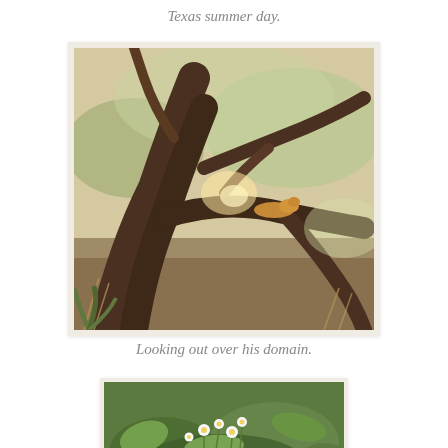Texas summer day.
[Figure (photo): A cat resting on the curved branch of a large oak tree outdoors on a Texas summer day. Dappled sunlight filters through the tree canopy, with dry grass and shrubs visible in the background.]
Looking out over his domain.
[Figure (photo): Close-up of wildflowers and green plants growing outdoors, with small white daisy-like flowers and broad-leafed plants visible.]